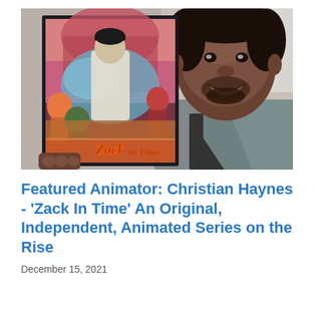[Figure (photo): A man smiling and holding up an animated movie/series poster for 'Zack In Time'. The poster shows animated characters including a main hero character with water/energy effects, set against a colorful illustrated background. The man is wearing a gray button-up shirt over a black t-shirt.]
Featured Animator: Christian Haynes - 'Zack In Time' An Original, Independent, Animated Series on the Rise
December 15, 2021